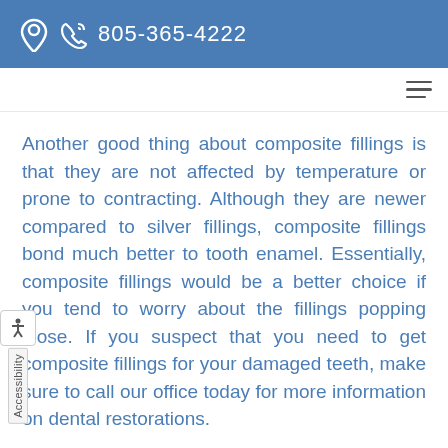805-365-4222
Another good thing about composite fillings is that they are not affected by temperature or prone to contracting. Although they are newer compared to silver fillings, composite fillings bond much better to tooth enamel. Essentially, composite fillings would be a better choice if you tend to worry about the fillings popping loose. If you suspect that you need to get composite fillings for your damaged teeth, make sure to call our office today for more information on dental restorations.